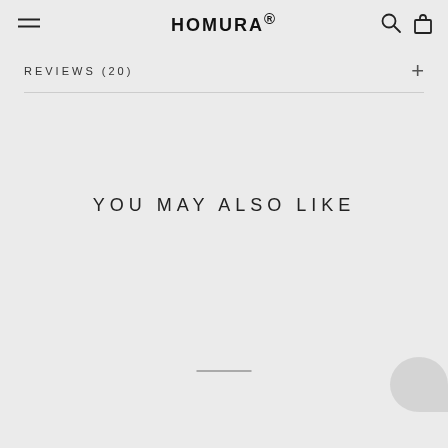HOMURA®
REVIEWS (20)
YOU MAY ALSO LIKE